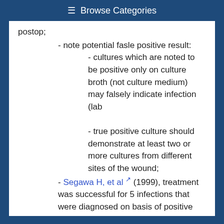≡ Browse Categories
postop;
- note potential fasle positive result:
- cultures which are noted to be positive only on culture broth (not culture medium) may falsely indicate infection (lab contamination);
- true positive culture should demonstrate at least two or more cultures from different sites of the wound;
- Segawa H, et al (1999), treatment was successful for 5 infections that were diagnosed on basis of positive